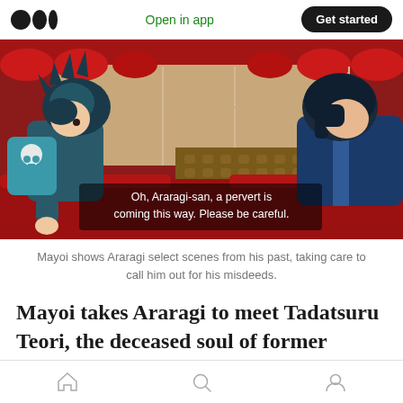Medium logo | Open in app | Get started
[Figure (illustration): Anime screenshot showing two characters sitting across from each other in a red room. The left character has spiky dark teal hair and a teal backpack with a skull design. The right character has dark blue hair and wears a blue outfit. Subtitle text reads: 'Oh, Araragi-san, a pervert is coming this way. Please be careful.']
Mayoi shows Araragi select scenes from his past, taking care to call him out for his misdeeds.
Mayoi takes Araragi to meet Tadatsuru Teori, the deceased soul of former specialist and colleague
Home | Search | Profile